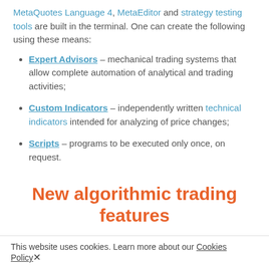MetaQuotes Language 4, MetaEditor and strategy testing tools are built in the terminal. One can create the following using these means:
Expert Advisors – mechanical trading systems that allow complete automation of analytical and trading activities;
Custom Indicators – independently written technical indicators intended for analyzing of price changes;
Scripts – programs to be executed only once, on request.
New algorithmic trading features
This website uses cookies. Learn more about our Cookies Policy ✕